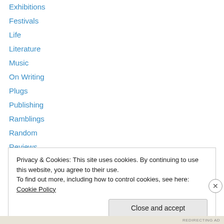Exhibitions
Festivals
Life
Literature
Music
On Writing
Plugs
Publishing
Ramblings
Random
Reviews
The Interwebs + All Things Digital
Theatre
Privacy & Cookies: This site uses cookies. By continuing to use this website, you agree to their use. To find out more, including how to control cookies, see here: Cookie Policy
Close and accept
REDIRECTING AD